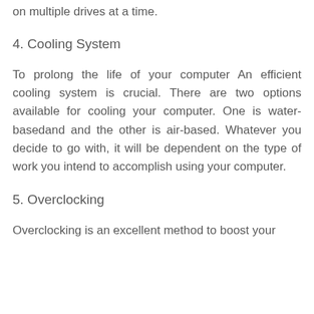on multiple drives at a time.
4. Cooling System
To prolong the life of your computer An efficient cooling system is crucial. There are two options available for cooling your computer. One is water-basedand and the other is air-based. Whatever you decide to go with, it will be dependent on the type of work you intend to accomplish using your computer.
5. Overclocking
Overclocking is an excellent method to boost your